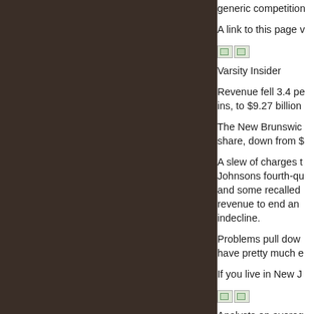generic competition
A link to this page v
[Figure (other): Two small image icons side by side]
Varsity Insider
Revenue fell 3.4 pe ins, to $9.27 billion
The New Brunswic share, down from $
A slew of charges t Johnsons fourth-qu and some recalled revenue to end an indecline.
Problems pull dow have pretty much e
If you live in New J
[Figure (other): Two small image icons side by side]
Analysts on averag